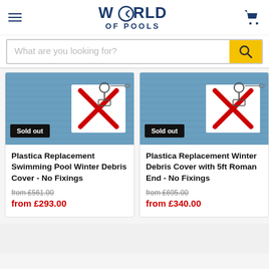[Figure (logo): World of Pools logo with hamburger menu and shopping cart icon]
[Figure (screenshot): Search bar with placeholder text 'What are you looking for?' and yellow search button]
[Figure (photo): Product image for Plastica Replacement Swimming Pool Winter Debris Cover - No Fixings, marked Sold out]
Plastica Replacement Swimming Pool Winter Debris Cover - No Fixings
from £561.00
from £293.00
[Figure (photo): Product image for Plastica Replacement Winter Debris Cover with 5ft Roman End - No Fixings, marked Sold out]
Plastica Replacement Winter Debris Cover with 5ft Roman End - No Fixings
from £695.00
from £340.00